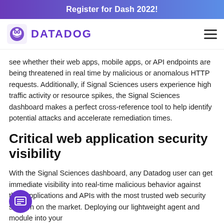Register for Dash 2022!
[Figure (logo): Datadog logo with dog icon and purple DATADOG wordmark, with hamburger menu icon on the right]
see whether their web apps, mobile apps, or API endpoints are being threatened in real time by malicious or anomalous HTTP requests. Additionally, if Signal Sciences users experience high traffic activity or resource spikes, the Signal Sciences dashboard makes a perfect cross-reference tool to help identify potential attacks and accelerate remediation times.
Critical web application security visibility
With the Signal Sciences dashboard, any Datadog user can get immediate visibility into real-time malicious behavior against their applications and APIs with the most trusted web security solution on the market. Deploying our lightweight agent and module into your